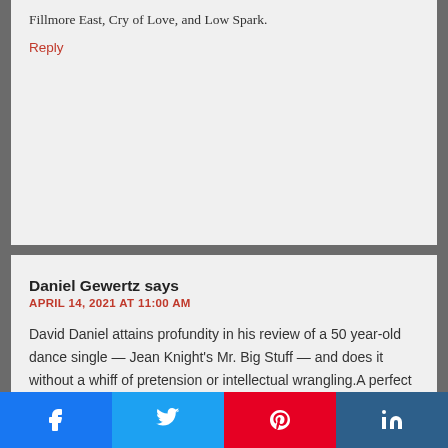Fillmore East, Cry of Love, and Low Spark.
Reply
Daniel Gewertz says
APRIL 14, 2021 AT 11:00 AM
David Daniel attains profundity in his review of a 50 year-old dance single — Jean Knight's Mr. Big Stuff — and does it without a whiff of pretension or intellectual wrangling.A perfect merging of review, research, memoir. Of mind and heart.